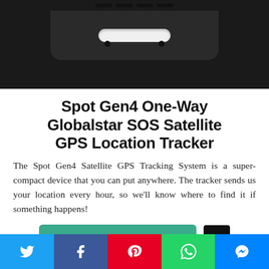[Figure (photo): Top portion of a black SPOT Gen4 satellite GPS tracker device showing its dark body with a ridge bar at top and a white LED/slot strip]
Spot Gen4 One-Way Globalstar SOS Satellite GPS Location Tracker
The Spot Gen4 Satellite GPS Tracking System is a super-compact device that you can put anywhere. The tracker sends us your location every hour, so we'll know where to find it if something happens!
[Figure (other): Teal/green 'Get From Amazon.com' call-to-action button with a black scroll-to-top arrow button on the right]
[Figure (other): Social sharing bar with Twitter (blue), Facebook (dark blue), Pinterest (red), WhatsApp (green), and Messenger (blue) icons]